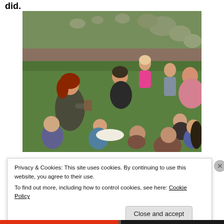did.
[Figure (photo): Outdoor group activity: a woman with red hair crouches on grass demonstrating something in a cup/jar to a circle of children and parents seated around her. Rocks and garden border visible in background.]
Privacy & Cookies: This site uses cookies. By continuing to use this website, you agree to their use.
To find out more, including how to control cookies, see here: Cookie Policy
Close and accept